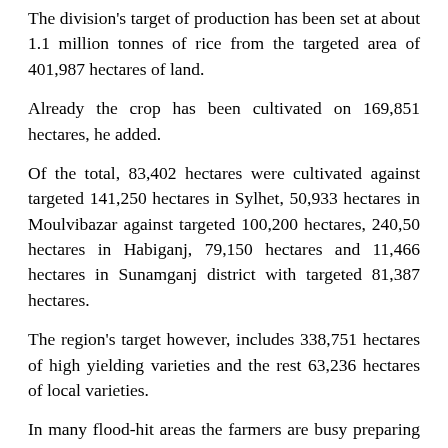The division's target of production has been set at about 1.1 million tonnes of rice from the targeted area of 401,987 hectares of land.
Already the crop has been cultivated on 169,851 hectares, he added.
Of the total, 83,402 hectares were cultivated against targeted 141,250 hectares in Sylhet, 50,933 hectares in Moulvibazar against targeted 100,200 hectares, 240,50 hectares in Habiganj, 79,150 hectares and 11,466 hectares in Sunamganj district with targeted 81,387 hectares.
The region's target however, includes 338,751 hectares of high yielding varieties and the rest 63,236 hectares of local varieties.
In many flood-hit areas the farmers are busy preparing lands afresh as those had remained inundated for weeks, informed the official.